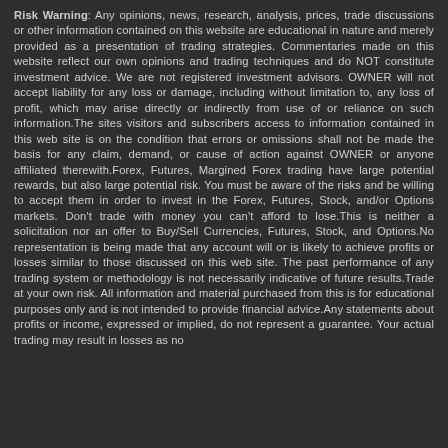Risk Warning: Any opinions, news, research, analysis, prices, trade discussions or other information contained on this website are educational in nature and merely provided as a presentation of trading strategies. Commentaries made on this website reflect our own opinions and trading techniques and do NOT constitute investment advice. We are not registered investment advisors. OWNER will not accept liability for any loss or damage, including without limitation to, any loss of profit, which may arise directly or indirectly from use of or reliance on such information.The sites visitors and subscribers access to information contained in this web site is on the condition that errors or omissions shall not be made the basis for any claim, demand, or cause of action against OWNER or anyone affiliated therewith.Forex, Futures, Margined Forex trading have large potential rewards, but also large potential risk. You must be aware of the risks and be willing to accept them in order to invest in the Forex, Futures, Stock, and/or Options markets. Don't trade with money you can't afford to lose.This is neither a solicitation nor an offer to Buy/Sell Currencies, Futures, Stock, and Options.No representation is being made that any account will or is likely to achieve profits or losses similar to those discussed on this web site. The past performance of any trading system or methodology is not necessarily indicative of future results.Trade at your own risk. All information and material purchased from this is for educational purposes only and is not intended to provide financial advice.Any statements about profits or income, expressed or implied, do not represent a guarantee. Your actual trading may result in losses as no